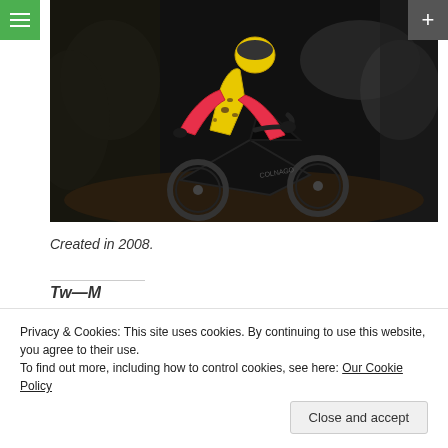[Figure (photo): A cyclist in a yellow and pink/red Belgian cycling kit riding a Colnago bicycle in dark muddy conditions, possibly a cyclocross race at night.]
Created in 2008.
Privacy & Cookies: This site uses cookies. By continuing to use this website, you agree to their use.
To find out more, including how to control cookies, see here: Our Cookie Policy
Close and accept